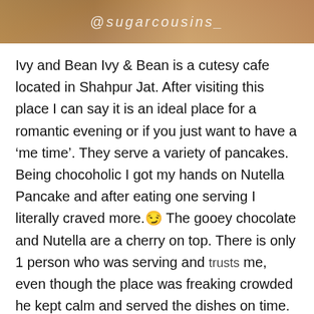[Figure (photo): Top banner showing a partial food/cafe photo with a cursive watermark text '@sugarcousins_' overlaid on it]
Ivy and Bean Ivy & Bean is a cutesy cafe located in Shahpur Jat. After visiting this place I can say it is an ideal place for a romantic evening or if you just want to have a ‘me time’. They serve a variety of pancakes. Being chocoholic I got my hands on Nutella Pancake and after eating one serving I literally craved more.😜 The gooey chocolate and Nutella are a cherry on top. There is only 1 person who was serving and trusts me, even though the place was freaking crowded he kept calm and served the dishes on time. If you are in Shahpur Jat this place is a must go!